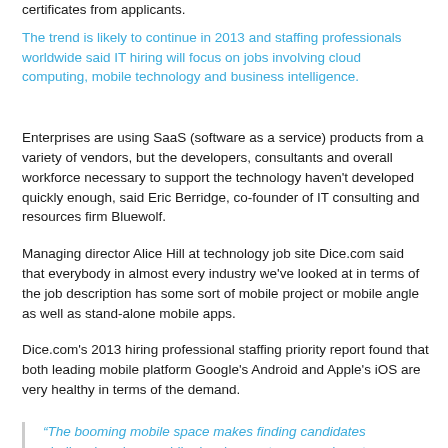certificates from applicants.
The trend is likely to continue in 2013 and staffing professionals worldwide said IT hiring will focus on jobs involving cloud computing, mobile technology and business intelligence.
Enterprises are using SaaS (software as a service) products from a variety of vendors, but the developers, consultants and overall workforce necessary to support the technology haven't developed quickly enough, said Eric Berridge, co-founder of IT consulting and resources firm Bluewolf.
Managing director Alice Hill at technology job site Dice.com said that everybody in almost every industry we've looked at in terms of the job description has some sort of mobile project or mobile angle as well as stand-alone mobile apps.
Dice.com's 2013 hiring professional staffing priority report found that both leading mobile platform Google's Android and Apple's iOS are very healthy in terms of the demand.
“The booming mobile space makes finding candidates challenging since mobile development may require a team